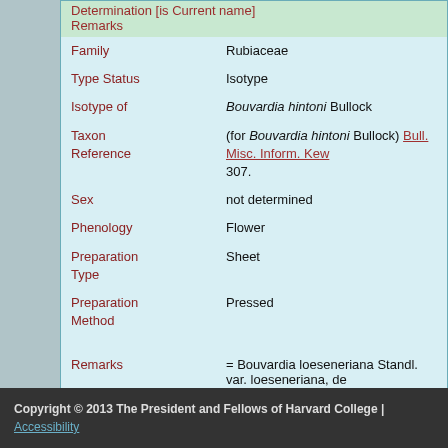Determination [is Current name] Remarks
| Field | Value |
| --- | --- |
| Family | Rubiaceae |
| Type Status | Isotype |
| Isotype of | Bouvardia hintoni Bullock |
| Taxon Reference | (for Bouvardia hintoni Bullock) Bull. Misc. Inform. Kew 307. |
| Sex | not determined |
| Phenology | Flower |
| Preparation Type | Sheet |
| Preparation Method | Pressed |
Remarks = Bouvardia loeseneriana Standl. var. loeseneriana, de
Copyright © 2013 The President and Fellows of Harvard College | Accessibility